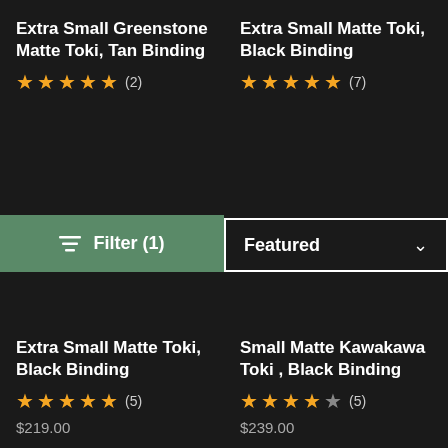Extra Small Greenstone Matte Toki, Tan Binding
★★★★★ (2)
[Figure (screenshot): Filter button with green background showing filter icon and text 'Filter (1)']
Extra Small Matte Toki, Black Binding
★★★★★ (7)
[Figure (screenshot): Featured dropdown selector with white border]
Extra Small Matte Toki, Black Binding
★★★★★ (5)
$219.00
Small Matte Kawakawa Toki , Black Binding
★★★★☆ (5)
$239.00